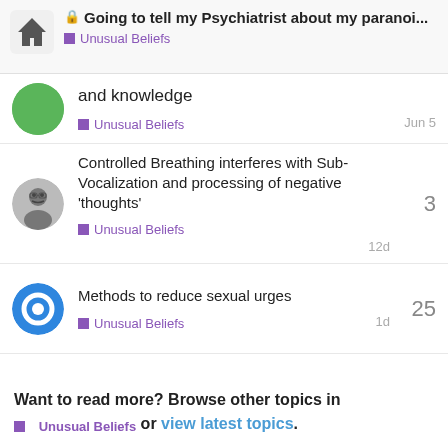🔒 Going to tell my Psychiatrist about my paranoi... — Unusual Beliefs
and knowledge — Unusual Beliefs — Jun 5
Controlled Breathing interferes with Sub-Vocalization and processing of negative 'thoughts' — Unusual Beliefs — 12d — 3 replies
Methods to reduce sexual urges — Unusual Beliefs — 1d — 25 replies
Night time delusions TW Trigger Warning — Unusual Beliefs — 1d — 1 reply
Want to read more? Browse other topics in Unusual Beliefs or view latest topics.